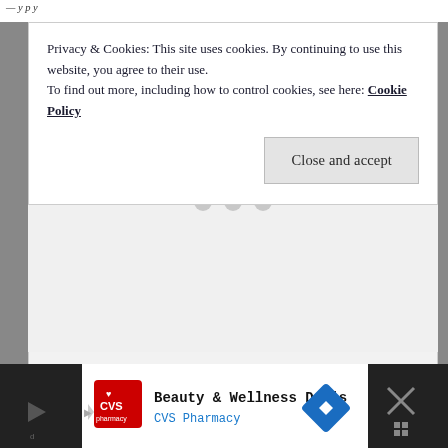Privacy & Cookies: This site uses cookies. By continuing to use this website, you agree to their use.
To find out more, including how to control cookies, see here: Cookie Policy
Close and accept
[Figure (other): Loading placeholder with three gray dots on a light gray background]
[Figure (other): Advertisement banner: CVS Pharmacy - Beauty & Wellness Deals with navigation/close icons]